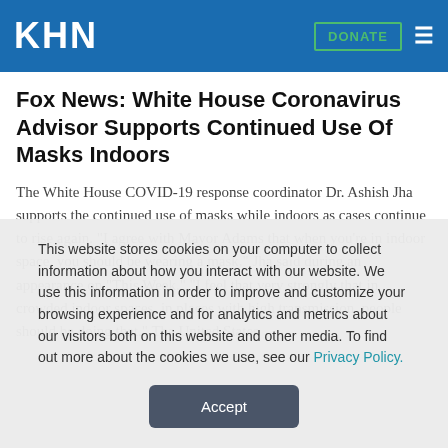KHN | DONATE
Fox News: White House Coronavirus Advisor Supports Continued Use Of Masks Indoors
The White House COVID-19 response coordinator Dr. Ashish Jha supports the continued use of masks while indoors as cases continue to rise again. "I agree with Mayor Adams that when you're in indoor space, you should be wearing a mask," Jha said during an appearance on "This Week." "I feel that very strongly that in crowded indoor spaces, in places with high transmission, people should be doing that." The United States
This website stores cookies on your computer to collect information about how you interact with our website. We use this information in order to improve and customize your browsing experience and for analytics and metrics about our visitors both on this website and other media. To find out more about the cookies we use, see our Privacy Policy.